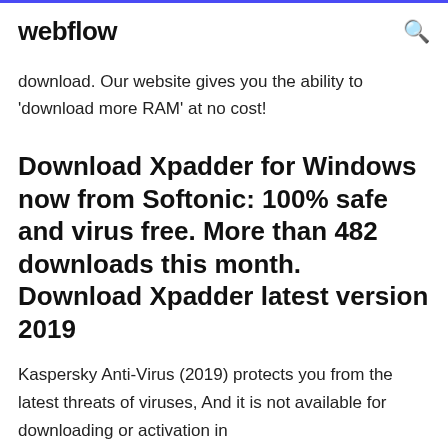webflow
download. Our website gives you the ability to 'download more RAM' at no cost!
Download Xpadder for Windows now from Softonic: 100% safe and virus free. More than 482 downloads this month. Download Xpadder latest version 2019
Kaspersky Anti-Virus (2019) protects you from the latest threats of viruses, And it is not available for downloading or activation in